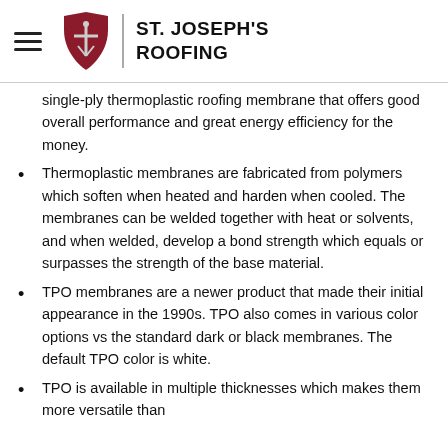ST. JOSEPH'S ROOFING
single-ply thermoplastic roofing membrane that offers good overall performance and great energy efficiency for the money.
Thermoplastic membranes are fabricated from polymers which soften when heated and harden when cooled. The membranes can be welded together with heat or solvents, and when welded, develop a bond strength which equals or surpasses the strength of the base material.
TPO membranes are a newer product that made their initial appearance in the 1990s. TPO also comes in various color options vs the standard dark or black membranes. The default TPO color is white.
TPO is available in multiple thicknesses which makes them more versatile than